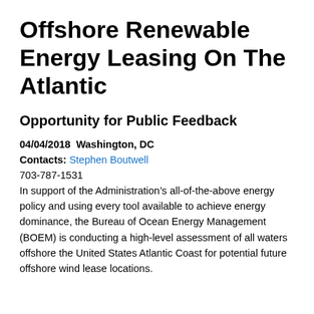Offshore Renewable Energy Leasing On The Atlantic
Opportunity for Public Feedback
04/04/2018  Washington, DC
Contacts: Stephen Boutwell
703-787-1531
In support of the Administration’s all-of-the-above energy policy and using every tool available to achieve energy dominance, the Bureau of Ocean Energy Management (BOEM) is conducting a high-level assessment of all waters offshore the United States Atlantic Coast for potential future offshore wind lease locations.